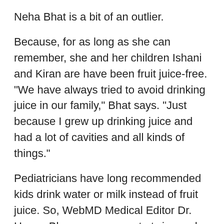Neha Bhat is a bit of an outlier.
Because, for as long as she can remember, she and her children Ishani and Kiran are have been fruit juice-free. "We have always tried to avoid drinking juice in our family," Bhat says. "Just because I grew up drinking juice and had a lot of cavities and all kinds of things."
Pediatricians have long recommended kids drink water or milk instead of fruit juice. So, WebMD Medical Editor Dr. Hansa Bhargava, a mom to twins and practicing pediatricians, supports the new American Academy of Pediatric's updated guidelines that recommend infants under the age of 1 drink no fruit juice at all.
"And that's because breast feeding, or breast milk, or formula actually has a lot more nutrients such as